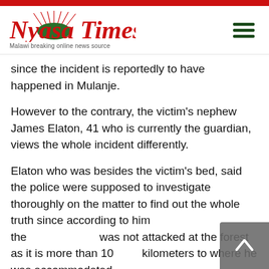Nyasa Times — Malawi breaking online news source
since the incident is reportedly to have happened in Mulanje.
However to the contrary, the victim's nephew James Elaton, 41 who is currently the guardian, views the whole incident differently.
Elaton who was besides the victim's bed, said the police were supposed to investigate thoroughly on the matter to find out the whole truth since according to him the was not attacked at the forest as it is more than 10 kilometers to where he was accommodated.
“The victim is currently based in Mozambique where he is working and on new year he decided to visit his son who is living with her mother at Khave village (some walkable distance to Ruo la village) before proceeding to a debate...